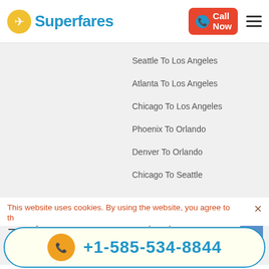[Figure (logo): Superfares logo with yellow airplane icon and blue text]
[Figure (other): Call Now button (red/orange) with phone icon]
[Figure (other): Hamburger menu icon]
Seattle To Los Angeles
Atlanta To Los Angeles
Chicago To Los Angeles
Phoenix To Orlando
Denver To Orlando
Chicago To Seattle
Holiday Deals
Top Airports
Thanksgiving Flights
Airports
New Year Flights
Delhi Airport
This website uses cookies. By using the website, you agree to th
+1-585-534-8844